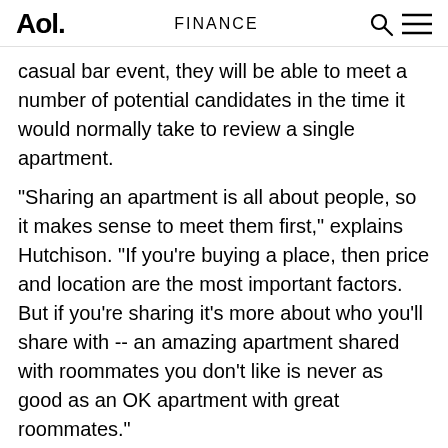Aol. | FINANCE
casual bar event, they will be able to meet a number of potential candidates in the time it would normally take to review a single apartment.
"Sharing an apartment is all about people, so it makes sense to meet them first," explains Hutchison. "If you're buying a place, then price and location are the most important factors. But if you're sharing it's more about who you'll share with -- an amazing apartment shared with roommates you don't like is never as good as an OK apartment with great roommates."
The idea was born in 2004 by Gemma Allen-Muncey, the director of the widely successful SpareRoom.com, who thought that adding a "speed dating" element to the roommate-finding process would be interesting. Seven